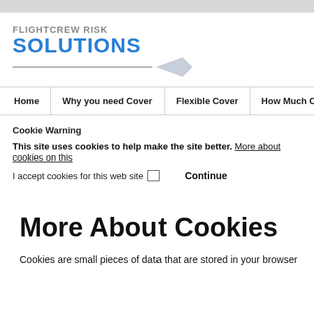[Figure (logo): Flightcrew Risk Solutions logo with blue SOLUTIONS text, gray line and paper plane arrow]
Home | Why you need Cover | Flexible Cover | How Much Cover
Cookie Warning
This site uses cookies to help make the site better. More about cookies on this
I accept cookies for this web site  [checkbox]  Continue
More About Cookies
Cookies are small pieces of data that are stored in your browser